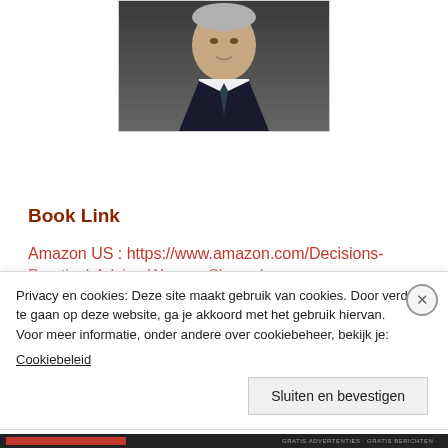[Figure (photo): Portrait photo of a man in a dark suit with a tie, against a dark background, cropped to show head and upper chest.]
Book Link
Amazon US : https://www.amazon.com/Decisions-
Practical-Advice-Women-Shaped
Privacy en cookies: Deze site maakt gebruik van cookies. Door verder te gaan op deze website, ga je akkoord met het gebruik hiervan.
Voor meer informatie, onder andere over cookiebeheer, bekijk je:
Cookiebeleid
Sluiten en bevestigen